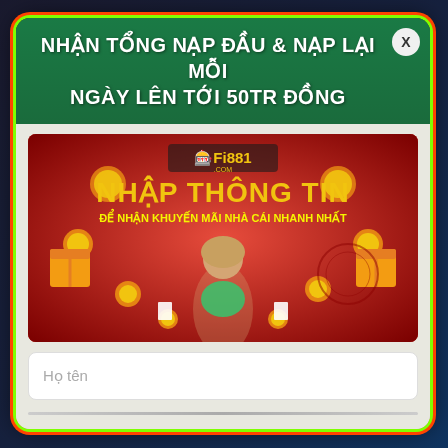NHẬN TỔNG NẠP ĐẦU & NẠP LẠI MỖI NGÀY LÊN TỚI 50TR ĐỒNG
[Figure (illustration): Fi881.com promotional banner with red background showing a woman in casino outfit, gold coins, gift boxes, roulette wheel, and text 'NHẬP THÔNG TIN ĐỂ NHẬN KHUYẾN MÃI NHÀ CÁI NHANH NHẤT']
Họ tên